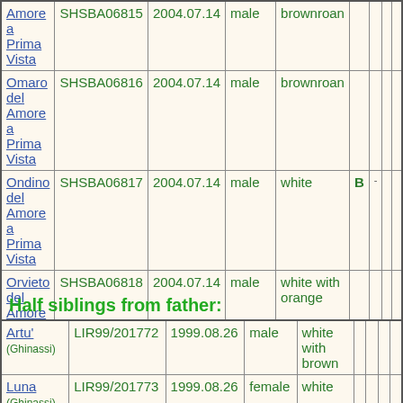| Name | Reg | Date | Sex | Color |  |  |  |  |
| --- | --- | --- | --- | --- | --- | --- | --- | --- |
| Amore a Prima Vista | SHSBA06815 | 2004.07.14 | male | brownroan |  |  |  |  |
| Omaro del Amore a Prima Vista | SHSBA06816 | 2004.07.14 | male | brownroan |  |  |  |  |
| Ondino del Amore a Prima Vista | SHSBA06817 | 2004.07.14 | male | white | B | - |  |  |
| Orvieto del Amore a Prima Vista | SHSBA06818 | 2004.07.14 | male | white with orange |  |  |  |  |
| Olbia del Amore a Prima Vista | SHSBA06819 | 2004.07.14 | female | brownroan |  |  |  |  |
| Omira del Amore a Prima Vista | SHSBA06820 | 2004.07.14 | female | brownroan |  |  |  |  |
Half siblings from father:
| Name | Reg | Date | Sex | Color |  |  |  |  |
| --- | --- | --- | --- | --- | --- | --- | --- | --- |
| Artu' (Ghinassi) | LIR99/201772 | 1999.08.26 | male | white with brown |  |  |  |  |
| Luna (Ghinassi) | LIR99/201773 | 1999.08.26 | female | white |  |  |  |  |